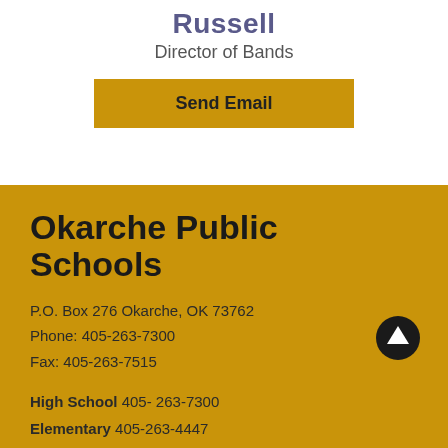Russell
Director of Bands
Send Email
Okarche Public Schools
P.O. Box 276 Okarche, OK 73762
Phone: 405-263-7300
Fax: 405-263-7515
High School 405- 263-7300
Elementary 405-263-4447
Log In